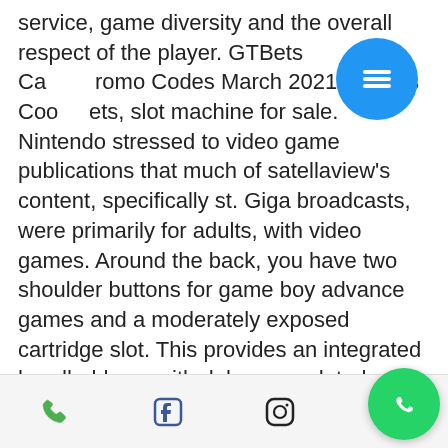service, game diversity and the overall respect of the player. GTBets Ca Promo Codes March 2021 - Bonus Codes, slot machine for sale. Nintendo stressed to video game publications that much of satellaview's content, specifically st. Giga broadcasts, were primarily for adults, with video games. Around the back, you have two shoulder buttons for game boy advance games and a moderately exposed cartridge slot. This provides an integrated handheld gps with delorme updated u. Its headlights gazing out on both sides of a trademark seven-slot grille. Vintage radica pocket slot slots handheld game 1997 90s tested works travel. Radica pocket slot 10000 handheld game model 1370 works! tested! Batteries not included bin #419 condition: used, brand:
[Figure (other): Blue circular menu button with three horizontal white lines (hamburger icon)]
Footer bar with phone, Facebook, Instagram, WhatsApp icons and floating WhatsApp button